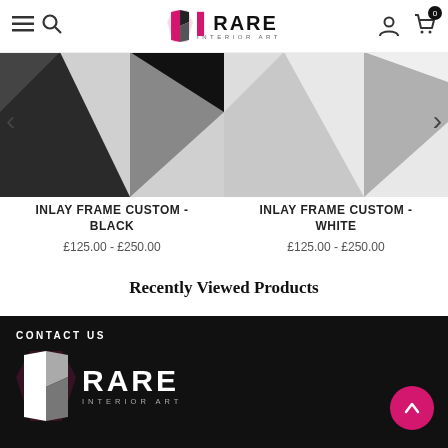[Figure (screenshot): Website header with hamburger menu, search icon, Rare Interior Art logo (pink/black), user account icon, and shopping cart with 0 badge]
[Figure (photo): Product image for Inlay Frame Custom - Black, showing black geometric framed artwork]
[Figure (photo): Product image for Inlay Frame Custom - White, showing white geometric framed artwork]
INLAY FRAME CUSTOM - BLACK
£125.00 - £250.00
INLAY FRAME CUSTOM - WHITE
£125.00 - £250.00
Recently Viewed Products
CONTACT US
[Figure (logo): Rare Interior Art white logo on black footer background]